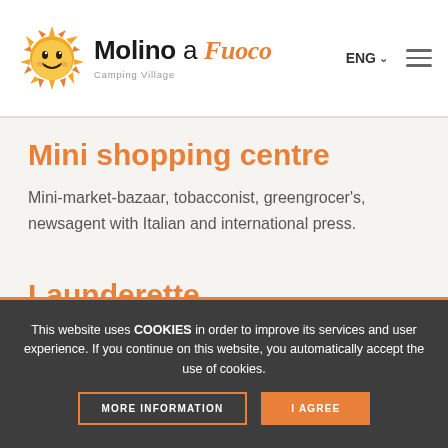Molino a Fuoco Camping Village — ENG navigation header
Mini shopping centre
Mini-market-bazaar, tobacconist, greengrocer's, newsagent with Italian and international press.
Launderette
Coin-operated washing machines and dryers.
This website uses COOKIES in order to improve its services and user experience. If you continue on this website, you automatically accept the use of cookies.